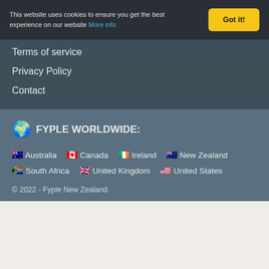This website uses cookies to ensure you get the best experience on our website More info
Got it!
Terms of service
Privacy Policy
Contact
🌍 FYPLE WORLDWIDE:
🇦🇺 Australia   🇨🇦 Canada   🇮🇪 Ireland   🇳🇿 New Zealand   🇿🇦 South Africa   🇬🇧 United Kingdom   🇺🇸 United States
© 2022 - Fyple New Zealand